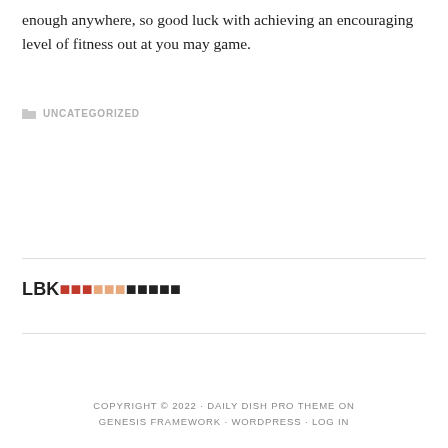enough anywhere, so good luck with achieving an encouraging level of fitness out at you may game.
UNCATEGORIZED
LBK■■■■■■■■■■■
COPYRIGHT © 2022 · DAILY DISH PRO THEME ON GENESIS FRAMEWORK · WORDPRESS · LOG IN